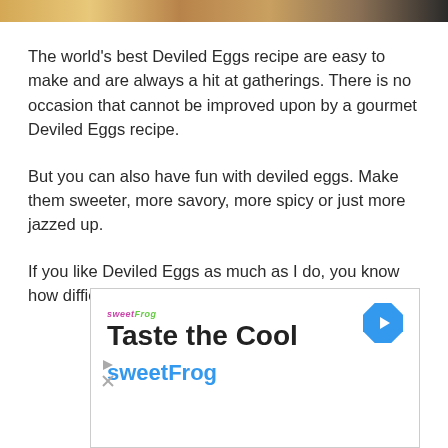[Figure (photo): Partial photo strip of deviled eggs at the top of the page]
The world's best Deviled Eggs recipe are easy to make and are always a hit at gatherings. There is no occasion that cannot be improved upon by a gourmet Deviled Eggs recipe.
But you can also have fun with deviled eggs. Make them sweeter, more savory, more spicy or just more jazzed up.
If you like Deviled Eggs as much as I do, you know how difficult it is to try to eat just one.
[Figure (screenshot): Advertisement banner for sweetFrog featuring 'Taste the Cool' headline with a navigation/map icon and sweetFrog branding in blue text. Small play and close buttons at bottom left.]